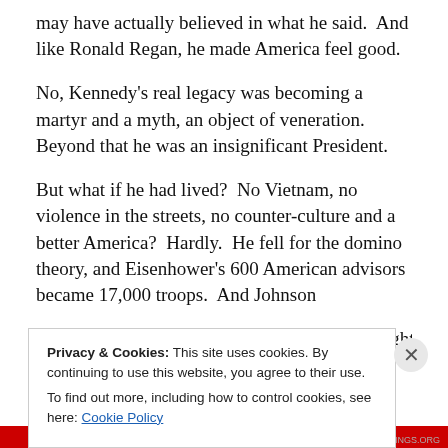may have actually believed in what he said.  And like Ronald Regan, he made America feel good.
No, Kennedy's real legacy was becoming a martyr and a myth, an object of veneration.  Beyond that he was an insignificant President.
But what if he had lived?  No Vietnam, no violence in the streets, no counter-culture and a better America?  Hardly.  He fell for the domino theory, and Eisenhower's 600 American advisors became 17,000 troops.  And Johnson inherited Kennedy's advisors, the “best and brightest,” who
Privacy & Cookies: This site uses cookies. By continuing to use this website, you agree to their use.
To find out more, including how to control cookies, see here: Cookie Policy